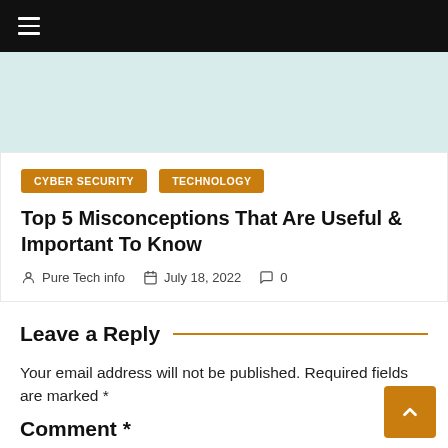≡
[Figure (illustration): Light teal/mint hero banner image area]
CYBER SECURITY   TECHNOLOGY
Top 5 Misconceptions That Are Useful & Important To Know
Pure Tech info   July 18, 2022   0
Leave a Reply
Your email address will not be published. Required fields are marked *
Comment *